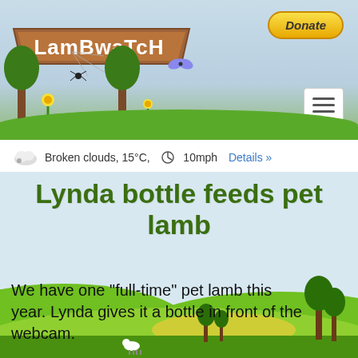[Figure (illustration): Lambwatch website header banner with illustrated countryside scene including flowers, grass, ladybug, spiderweb, butterfly, trees on light blue sky background. Donate button top-right. Hamburger menu icon below donate button.]
LambwaTcH
Broken clouds, 15°C, 🔄 10mph Details »
Lynda bottle feeds pet lamb
We have one "full-time" pet lamb this year. Lynda gives it a bottle in front of the webcam.